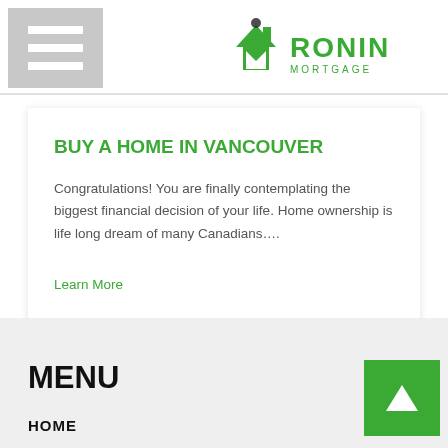Ronin Mortgage — navigation header with hamburger menu and logo
BUY A HOME IN VANCOUVER
Congratulations! You are finally contemplating the biggest financial decision of your life. Home ownership is life long dream of many Canadians….
Learn More
MENU
HOME